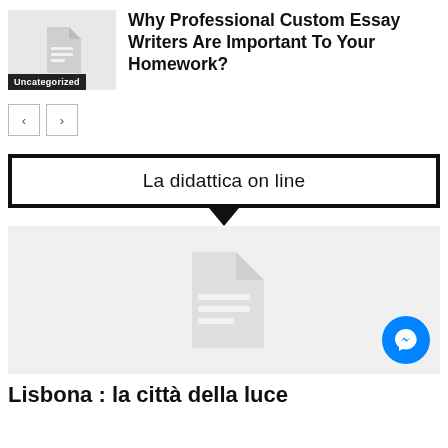Why Professional Custom Essay Writers Are Important To Your Homework?
[Figure (other): Document thumbnail with Uncategorized badge]
< > navigation buttons
La didattica on line
[Figure (other): Gray placeholder card with document icon]
Lisbona : la città della luce